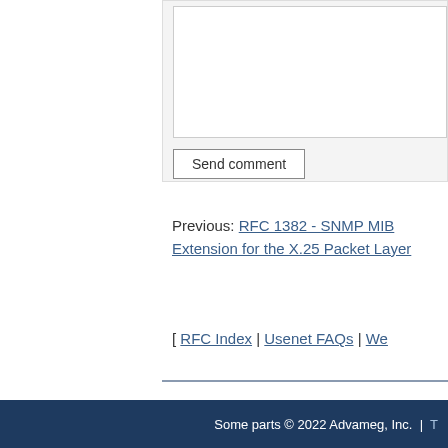[Figure (screenshot): Comment form with textarea and Send comment button on a light gray background]
Previous: RFC 1382 - SNMP MIB Extension for the X.25 Packet Layer
[ RFC Index | Usenet FAQs | We...
Some parts © 2022 Advameg, Inc. | T...